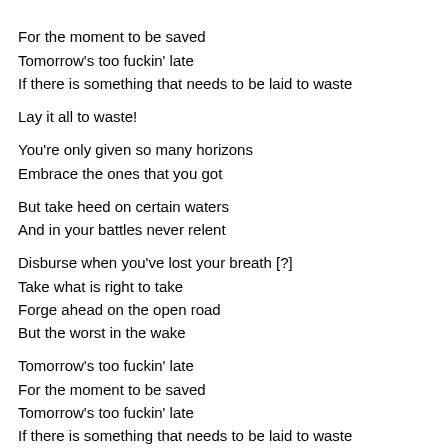For the moment to be saved
Tomorrow's too fuckin' late
If there is something that needs to be laid to waste
Lay it all to waste!
You're only given so many horizons
Embrace the ones that you got
But take heed on certain waters
And in your battles never relent
Disburse when you've lost your breath [?]
Take what is right to take
Forge ahead on the open road
But the worst in the wake
Tomorrow's too fuckin' late
For the moment to be saved
Tomorrow's too fuckin' late
If there is something that needs to be laid to waste
Lay it all to waste!
Lay it all to waste!
Lay it all to waste!
Lay it all to waste!